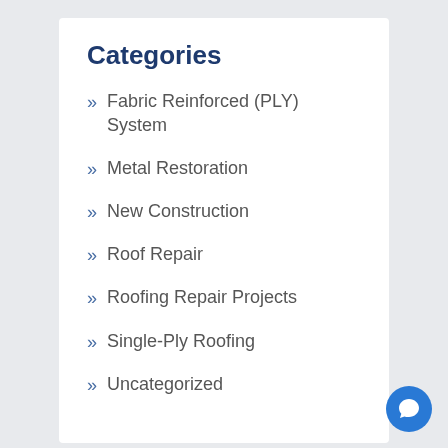Categories
Fabric Reinforced (PLY) System
Metal Restoration
New Construction
Roof Repair
Roofing Repair Projects
Single-Ply Roofing
Uncategorized